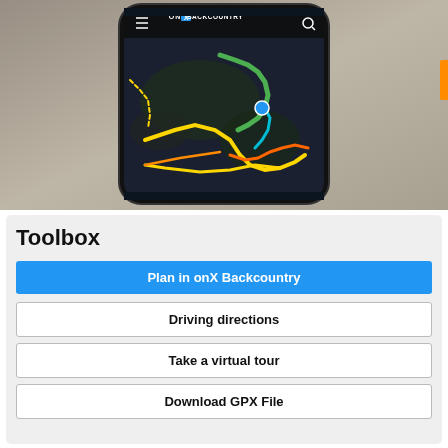[Figure (screenshot): Screenshot of onX Backcountry mobile app showing a dark map with colored trail lines (green, yellow, orange, cyan) and a blue location dot. The app header shows a hamburger menu, 'ON X BACKCOUNTRY' logo, and search icon.]
Toolbox
Plan in onX Backcountry
Driving directions
Take a virtual tour
Download GPX File